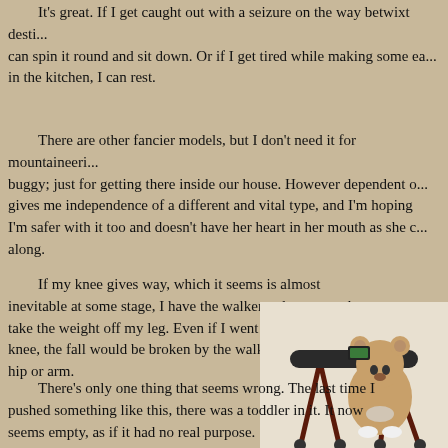It's great. If I get caught out with a seizure on the way betwixt destinations, I can spin it round and sit down. Or if I get tired while making some ea... in the kitchen, I can rest.
There are other fancier models, but I don't need it for mountaineering buggy; just for getting there inside our house. However dependent o... gives me independence of a different and vital type, and I'm hoping T... I'm safer with it too and doesn't have her heart in her mouth as she c... along.
If my knee gives way, which it seems is almost inevitable at some stage, I have the walker to lean on and take the weight off my leg. Even if I went down on that knee, the fall would be broken by the walker rather than my hip or arm.
[Figure (photo): A teddy bear sitting in a wheeled walker/rollator frame against a light background.]
There's only one thing that seems wrong. The last time I pushed something like this, there was a toddler in it. It now seems empty, as if it had no real purpose.